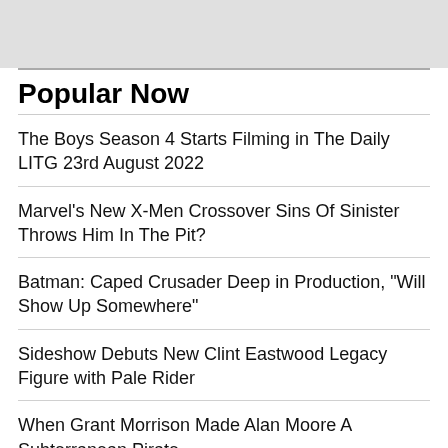[Figure (other): Gray placeholder image area at top of page]
Popular Now
The Boys Season 4 Starts Filming in The Daily LITG 23rd August 2022
Marvel's New X-Men Crossover Sins Of Sinister Throws Him In The Pit?
Batman: Caped Crusader Deep in Production, "Will Show Up Somewhere"
Sideshow Debuts New Clint Eastwood Legacy Figure with Pale Rider
When Grant Morrison Made Alan Moore A Subterranean Pirate
Fantastic Four #46 Preview: Reed Richards Finally Meets His Match
The Sandman: Neil Gaiman on If Viewers Can Expect